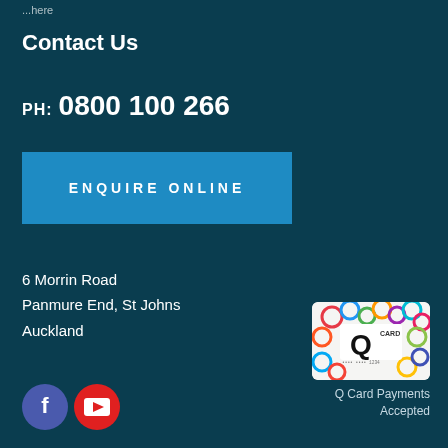...here
Contact Us
PH: 0800 100 266
ENQUIRE ONLINE
6 Morrin Road
Panmure End, St Johns
Auckland
Q Card Payments Accepted
[Figure (logo): Q Card payment card logo with colourful circles]
[Figure (logo): Facebook social media icon - circular blue]
[Figure (logo): YouTube social media icon - circular red]